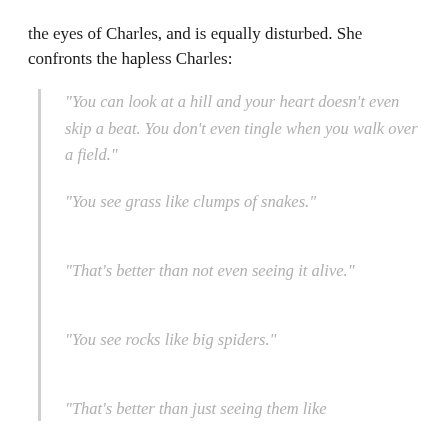the eyes of Charles, and is equally disturbed. She confronts the hapless Charles:
“You can look at a hill and your heart doesn’t even skip a beat. You don’t even tingle when you walk over a field.”
“You see grass like clumps of snakes.”
“That’s better than not even seeing it alive.”
“You see rocks like big spiders.”
“That’s better than just seeing them like